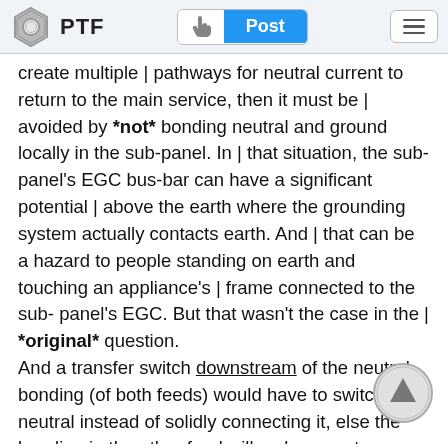PTF | Post
create multiple | pathways for neutral current to return to the main service, then it must be | avoided by *not* bonding neutral and ground locally in the sub-panel. In | that situation, the sub-panel's EGC bus-bar can have a significant potential | above the earth where the grounding system actually contacts earth. And | that can be a hazard to people standing on earth and touching an appliance's | frame connected to the sub-panel's EGC. But that wasn't the case in the | *original* question.
And a transfer switch downstream of the neutral bonding (of both feeds) would have to switch the neutral instead of solidly connecting it, else the bonding in the other feed will make an extra neutral to EGC path and put current on the EGC. And of course